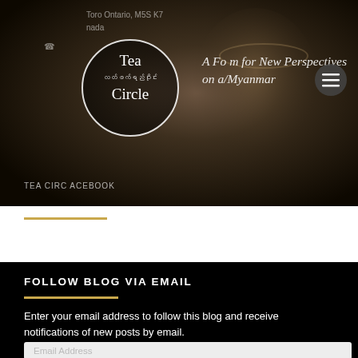[Figure (screenshot): Tea Circle website header banner with logo, tagline, and navigation. Dark brown background with tea cup bokeh effect. Logo shows a circle with 'Tea' in English and Myanmar script, and 'Circle' below. Tagline reads 'A Forum for New Perspectives on Burma/Myanmar'. Text 'Toronto, Ontario, M5S 3K7', 'Canada', 'TEA CIRCLE ON FACEBOOK' partially visible.]
FOLLOW BLOG VIA EMAIL
Enter your email address to follow this blog and receive notifications of new posts by email.